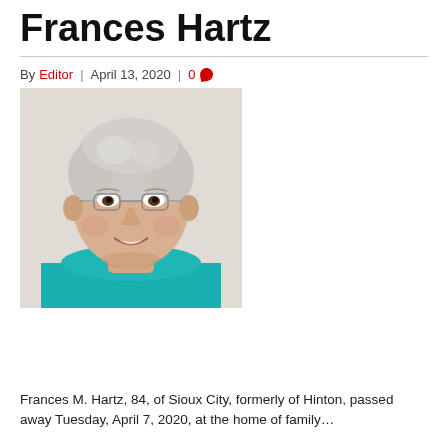Frances Hartz
By Editor | April 13, 2020 | 0
[Figure (photo): Portrait photo of Frances Hartz, an elderly woman with short white/grey hair, glasses, smiling, wearing a teal/turquoise top, photographed against a light textured background.]
Frances M. Hartz, 84, of Sioux City, formerly of Hinton, passed away Tuesday, April 7, 2020, at the home of family...